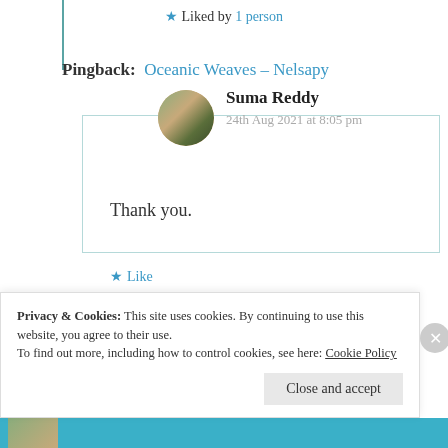★ Liked by 1 person
Pingback: Oceanic Weaves – Nelsapy
[Figure (photo): Circular avatar photo of Suma Reddy]
Suma Reddy
24th Aug 2021 at 8:05 pm
Thank you.
★ Like
Privacy & Cookies: This site uses cookies. By continuing to use this website, you agree to their use.
To find out more, including how to control cookies, see here: Cookie Policy
Close and accept